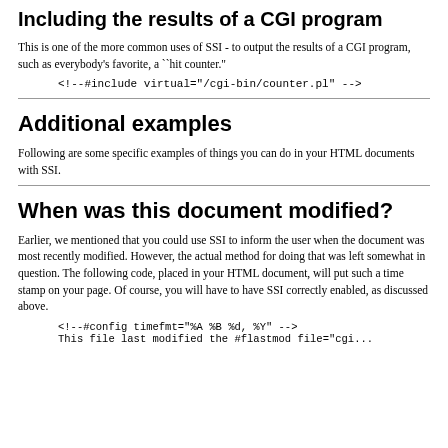Including the results of a CGI program
This is one of the more common uses of SSI - to output the results of a CGI program, such as everybody's favorite, a ``hit counter."
Additional examples
Following are some specific examples of things you can do in your HTML documents with SSI.
When was this document modified?
Earlier, we mentioned that you could use SSI to inform the user when the document was most recently modified. However, the actual method for doing that was left somewhat in question. The following code, placed in your HTML document, will put such a time stamp on your page. Of course, you will have to have SSI correctly enabled, as discussed above.